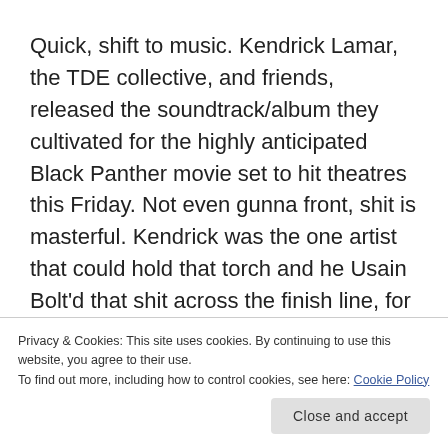Quick, shift to music. Kendrick Lamar, the TDE collective, and friends, released the soundtrack/album they cultivated for the highly anticipated Black Panther movie set to hit theatres this Friday. Not even gunna front, shit is masterful. Kendrick was the one artist that could hold that torch and he Usain Bolt'd that shit across the finish line, for the culture. Big ups to him and the rest of the contributors for that.
However, how did we not get a Big K.R.I.T. feature
Privacy & Cookies: This site uses cookies. By continuing to use this website, you agree to their use.
To find out more, including how to control cookies, see here: Cookie Policy
Close and accept